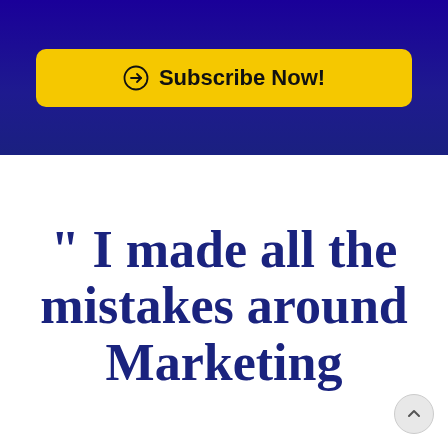[Figure (infographic): Dark navy blue banner section with a yellow 'Subscribe Now!' button featuring a circled arrow icon]
" I made all the mistakes around Marketing